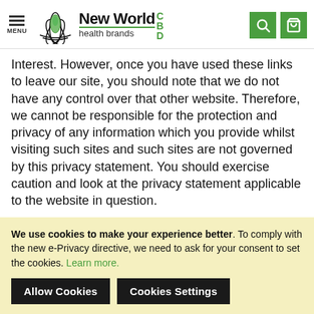MENU | New World CBD health brands
Interest. However, once you have used these links to leave our site, you should note that we do not have any control over that other website. Therefore, we cannot be responsible for the protection and privacy of any information which you provide whilst visiting such sites and such sites are not governed by this privacy statement. You should exercise caution and look at the privacy statement applicable to the website in question.
We use cookies to make your experience better. To comply with the new e-Privacy directive, we need to ask for your consent to set the cookies. Learn more.
Allow Cookies
Cookies Settings